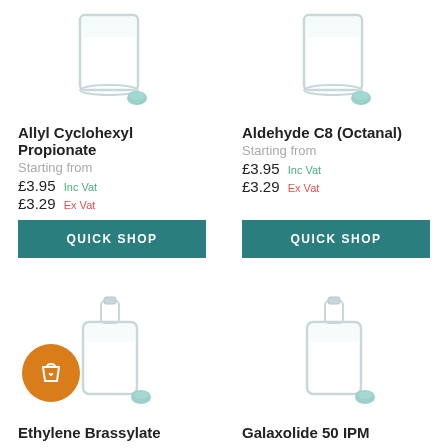[Figure (illustration): Glass beaker/container with small teal stopper, product image for Allyl Cyclohexyl Propionate]
[Figure (illustration): Glass beaker/container with small teal stopper, product image for Aldehyde C8 (Octanal)]
Allyl Cyclohexyl Propionate
Aldehyde C8 (Octanal)
Starting from
Starting from
£3.95 Inc Vat
£3.95 Inc Vat
£3.29 Ex Vat
£3.29 Ex Vat
QUICK SHOP
QUICK SHOP
[Figure (illustration): Glass bottle/flask with small teal stopper, product image for Ethylene Brassylate, with orange shopping bag badge overlay]
[Figure (illustration): Glass bottle/flask with small teal stopper, product image for Galaxolide 50 IPM]
Ethylene Brassylate
Galaxolide 50 IPM